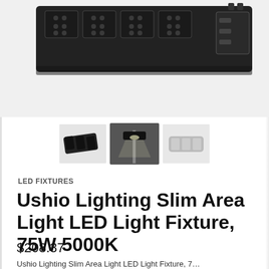[Figure (photo): LED area light fixture product photo viewed from below/side, dark background, showing modular LED panels in a slim black housing]
[Figure (photo): Three product thumbnail images: left shows the slim LED area light fixture at an angle (dark, clear), center shows the fixture mounted on a pole with light beam visible (selected/highlighted with border), right shows a top-down angle view (faded/greyed out)]
LED FIXTURES
Ushio Lighting Slim Area Light LED Light Fixture, 75W 5000K
$208.37
Ushio Lighting Slim Area Light LED Light Fixture, 7...